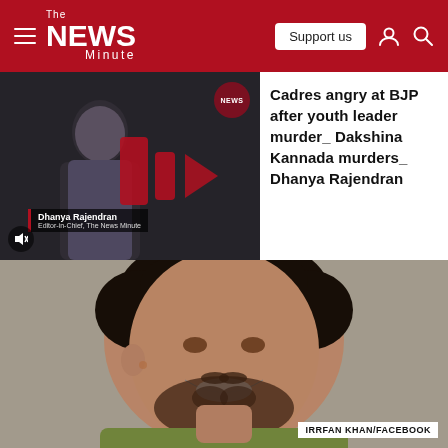The News Minute
[Figure (screenshot): Video thumbnail showing a woman presenter (Dhanya Rajendran, Editor-in-Chief The News Minute) with a play button overlay and NEWS badge]
Cadres angry at BJP after youth leader murder_ Dakshina Kannada murders_ Dhanya Rajendran
[Figure (photo): Close-up photo of Irrfan Khan smiling, wearing a green top, with photo credit IRRFAN KHAN/FACEBOOK]